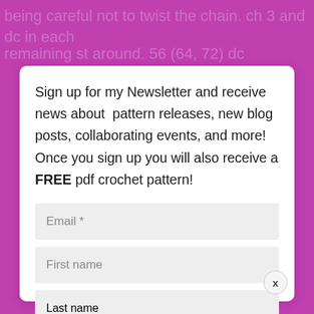being careful not to twist the chain.  ch 3 and dc in each
remaining st around.  56 (64, 72) dc
Sign up for my Newsletter and receive news about  pattern releases, new blog posts, collaborating events, and more!  Once you sign up you will also receive a FREE pdf crochet pattern!